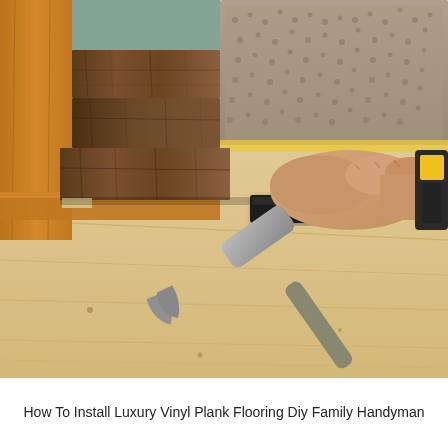[Figure (photo): A person's hand pressing down a luxury vinyl plank flooring piece near a wooden door frame, using a black tapping block and a hammer to set the plank in place. The subfloor is light-colored plywood and there is carpet visible in the upper right. A yellow-handled Stanley tool is partially visible on the right side.]
How To Install Luxury Vinyl Plank Flooring Diy Family Handyman